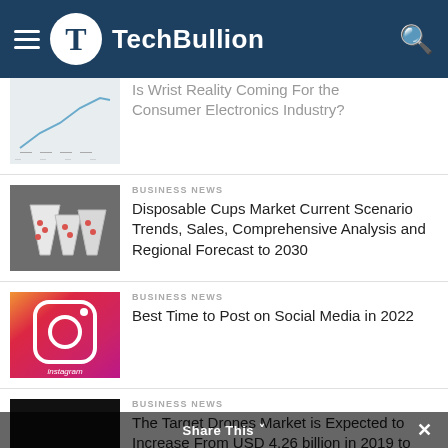TechBullion
Is Wrist Reality Coming For the Consumer Electronics Industry?
BUSINESS NEWS
Disposable Cups Market Current Scenario Trends, Sales, Comprehensive Analysis and Regional Forecast to 2030
BUSINESS NEWS
Best Time to Post on Social Media in 2022
BUSINESS NEWS
The Target Drones Market is Expected to Increase From USD 4.26 billion in 2019 to USD 7.26 Billion By 2027